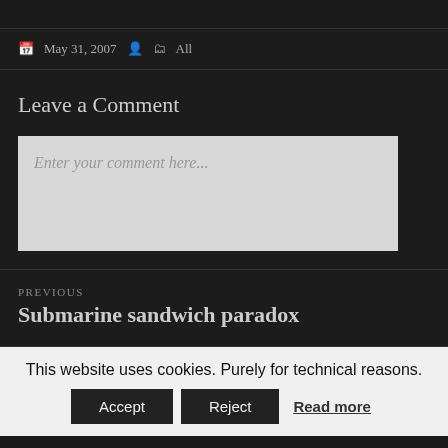May 31, 2007   All
Leave a Comment
Enter your comment here...
PREVIOUS
Submarine sandwich paradox
This website uses cookies. Purely for technical reasons.
Accept   Reject   Read more